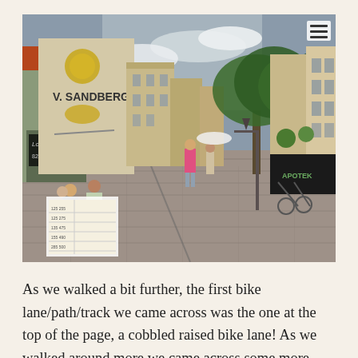[Figure (photo): Street-level photo of a European pedestrian/shopping street with cobblestones, outdoor cafe seating on the left, trees on the right, shops including one labeled 'V. SANDBERG', and people walking. A hamburger menu icon appears in the top-right corner of the photo.]
As we walked a bit further, the first bike lane/path/track we came across was the one at the top of the page, a cobbled raised bike lane! As we walked around more we came across some more conventional protected